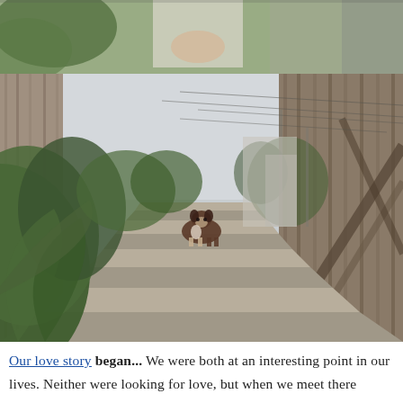[Figure (photo): Partial photo at top of page showing a person in light clothing with hands near torso, green tropical foliage background, wooden structure visible at right]
[Figure (photo): A dog standing on outdoor wooden stairs, surrounded by lush tropical green plants and palm fronds on the left, wooden fence/railing on the right, utility poles and wires visible in the background sky]
Our love story began... We were both at an interesting point in our lives. Neither were looking for love, but when we meet there